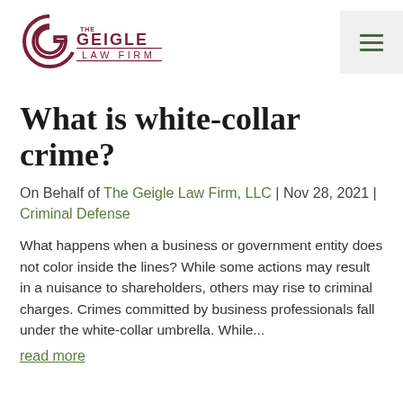[Figure (logo): The Geigle Law Firm logo with stylized G monogram and firm name]
What is white-collar crime?
On Behalf of The Geigle Law Firm, LLC | Nov 28, 2021 | Criminal Defense
What happens when a business or government entity does not color inside the lines? While some actions may result in a nuisance to shareholders, others may rise to criminal charges. Crimes committed by business professionals fall under the white-collar umbrella. While...
read more